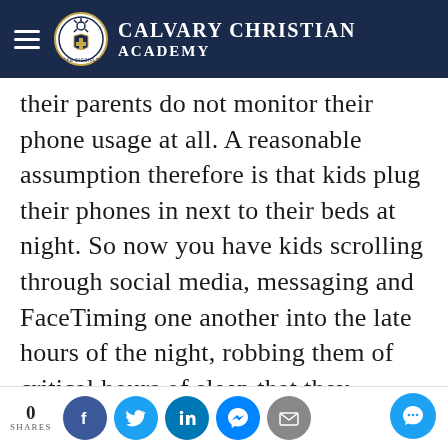Calvary Christian Academy
their parents do not monitor their phone usage at all. A reasonable assumption therefore is that kids plug their phones in next to their beds at night. So now you have kids scrolling through social media, messaging and FaceTiming one another into the late hours of the night, robbing them of critical hours of sleep that they desperately need for holistic health. In this way, the smartphone erodes
0 SHARES [Facebook] [Twitter] [LinkedIn] [Messenger] [Email]